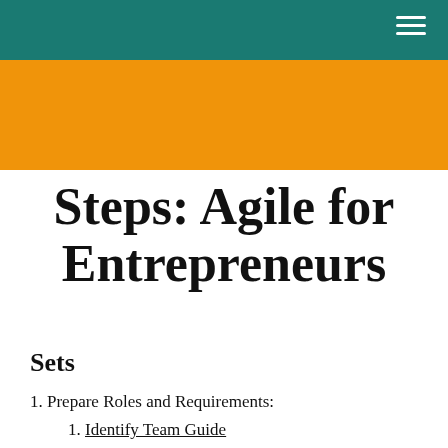Steps: Agile for Entrepreneurs
Sets
1. Prepare Roles and Requirements:
1. Identify Team Guide